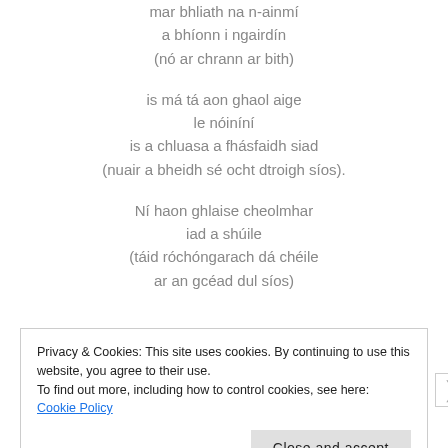mar bhliath na n-ainmí
a bhíonn i ngairdín
(nó ar chrann ar bith)
is má tá aon ghaol aige
le nóiníní
is a chluasa a fhásfaidh siad
(nuair a bheidh sé ocht dtroigh síos).
Ní haon ghlaise cheolmhar
iad a shúile
(táid róchóngarach dá chéile
ar an gcéad dul síos)
Privacy & Cookies: This site uses cookies. By continuing to use this website, you agree to their use.
To find out more, including how to control cookies, see here: Cookie Policy
Close and accept